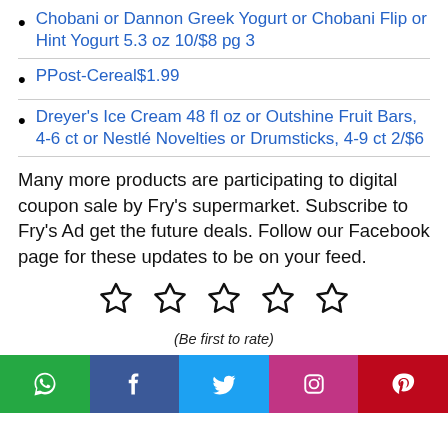Chobani or Dannon Greek Yogurt or Chobani Flip or Hint Yogurt 5.3 oz 10/$8 pg 3
PPost-Cereal$1.99
Dreyer's Ice Cream 48 fl oz or Outshine Fruit Bars, 4-6 ct or Nestlé Novelties or Drumsticks, 4-9 ct 2/$6
Many more products are participating to digital coupon sale by Fry's supermarket. Subscribe to Fry's Ad get the future deals. Follow our Facebook page for these updates to be on your feed.
[Figure (infographic): Five empty star rating icons in a row with italic text '(Be first to rate)' below]
[Figure (infographic): Social media sharing bar with WhatsApp, Facebook, Twitter, Instagram, and Pinterest buttons]